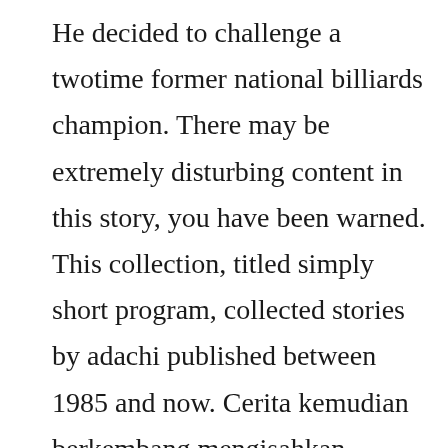He decided to challenge a twotime former national billiards champion. There may be extremely disturbing content in this story, you have been warned. This collection, titled simply short program, collected stories by adachi published between 1985 and now. Cerita kemudian berkembang mengisahkan perjuangan chinmi untuk memenangkan turnamen turnamen bilyar dan hasratnya mengasah kemampuan dan menciptakan teknik bilyar yang baru. Pictures, documents, manufacturing data, ratings, comments, features and history for you and about